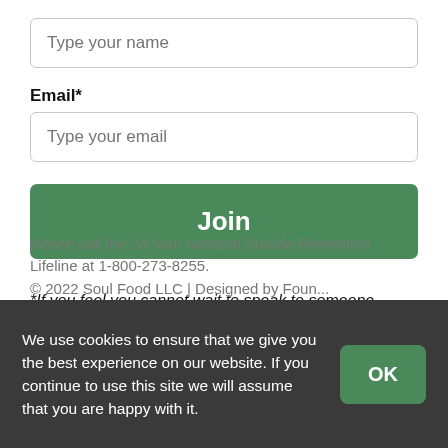Type your name
Email*
Type your email
Join
*If you feel you cannot wait to speak to someone, please call the 24-hour National Suicide Prevention Lifeline at 1-800-273-8255.
We use cookies to ensure that we give you the best experience on our website. If you continue to use this site we will assume that you are happy with it.
OK